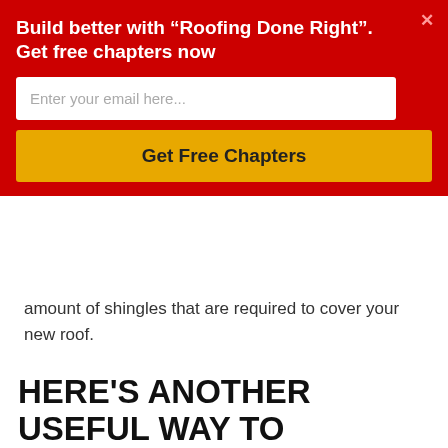amount of shingles that are required to cover your new roof.
HERE'S ANOTHER USEFUL WAY TO CALCULATE HOW MANY ROOF SHINGLES YOU CAN USE:
[Figure (screenshot): Video thumbnail showing a person with the title 'Estimate the amount of Roofing...' on a dark background with a three-dot menu icon]
Build better with “Roofing Done Right”. Get free chapters now
[Figure (screenshot): Email opt-in popup with red background, email input field placeholder 'Enter your email here...', and a yellow 'Get Free Chapters' button]